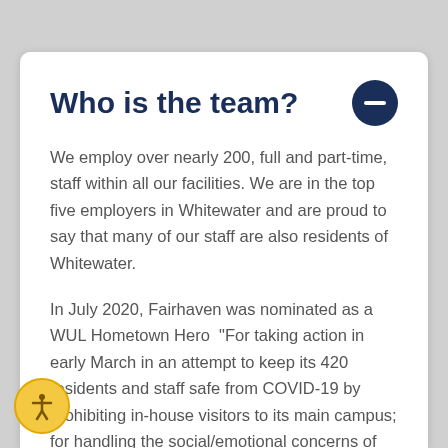Who is the team?
We employ over nearly 200, full and part-time, staff within all our facilities. We are in the top five employers in Whitewater and are proud to say that many of our staff are also residents of Whitewater.
In July 2020, Fairhaven was nominated as a WUL Hometown Hero  "For taking action in early March in an attempt to keep its 420 residents and staff safe from COVID-19 by prohibiting in-house visitors to its main campus; for handling the social/emotional concerns of the